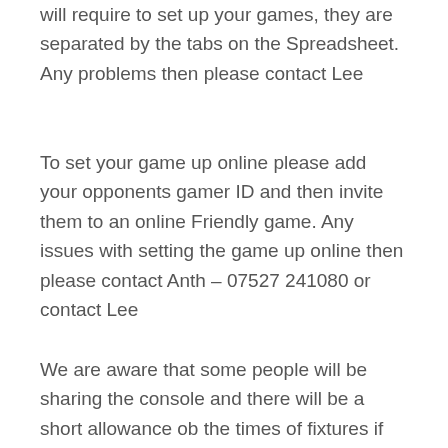will require to set up your games, they are separated by the tabs on the Spreadsheet. Any problems then please contact Lee
To set your game up online please add your opponents gamer ID and then invite them to an online Friendly game. Any issues with setting the game up online then please contact Anth – 07527 241080 or contact Lee
We are aware that some people will be sharing the console and there will be a short allowance ob the times of fixtures if